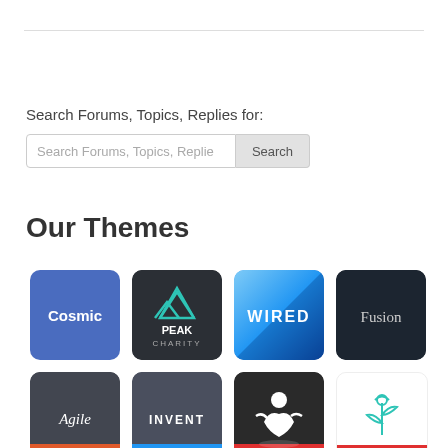Search Forums, Topics, Replies for:
Search Forums, Topics, Replies Search
Our Themes
[Figure (screenshot): Grid of theme icons: Cosmic (blue), Peak Charity (dark with teal mountain), WIRED (blue gradient), Fusion (dark), Agile (dark grey italic), INVENT (grey), FITPRO (dark with muscular figure), and a light tile with a teal sprout icon]